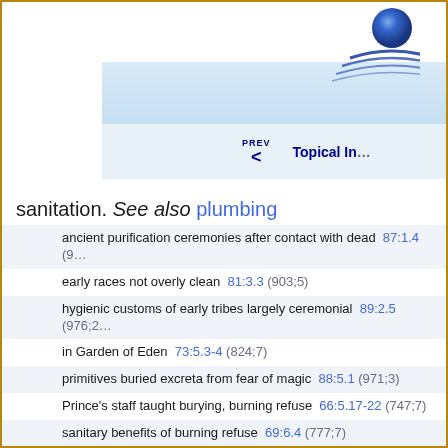[Figure (logo): Blue spherical globe logo with concentric arc lines below]
PREV < Topical In...
sanitation. See also plumbing
ancient purification ceremonies after contact with dead  87:1.4 (9...)
early races not overly clean  81:3.3 (903;5)
hygienic customs of early tribes largely ceremonial  89:2.5 (976;2...)
in Garden of Eden  73:5.3-4 (824;7)
primitives buried excreta from fear of magic  88:5.1 (971;3)
Prince's staff taught burying, burning refuse  66:5.17-22 (747;7)
sanitary benefits of burning refuse  69:6.4 (777;7)
tides flushed sewers of Caesarea  130:2.1 (1429;3)
sanity. See also happiness; health
integration of truth, beauty, and goodness  2:7.11 (43;4)